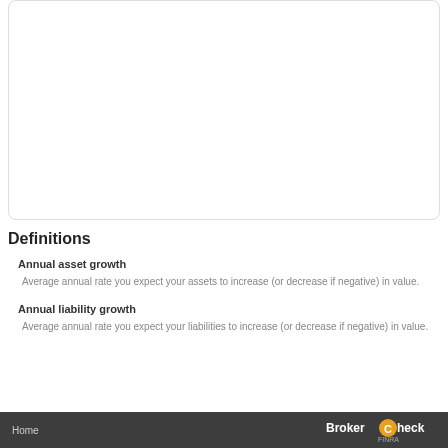[Figure (other): Empty white card/panel area with rounded corners and light border]
Definitions
Annual asset growth
Average annual rate you expect your assets to increase (or decrease if negative) in value.
Annual liability growth
Average annual rate you expect your liabilities to increase (or decrease if negative) in value.
Home  BrokerCheck FINRA